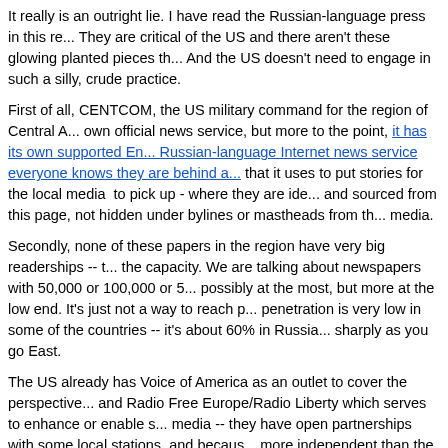It really is an outright lie. I have read the Russian-language press in this re... They are critical of the US and there aren't these glowing planted pieces th... And the US doesn't need to engage in such a silly, crude practice.
First of all, CENTCOM, the US military command for the region of Central A... own official news service, but more to the point, it has its own supported En... Russian-language Internet news service everyone knows they are behind a... that it uses to put stories for the local media to pick up - where they are ide... and sourced from this page, not hidden under bylines or mastheads from th... media.
Secondly, none of these papers in the region have very big readerships -- t... the capacity. We are talking about newspapers with 50,000 or 100,000 or 5... possibly at the most, but more at the low end. It's just not a way to reach pe... penetration is very low in some of the countries -- it's about 60% in Russia... sharply as you go East.
The US already has Voice of America as an outlet to cover the perspective... and Radio Free Europe/Radio Liberty which serves to enhance or enable s... media -- they have open partnerships with some local stations, and becaus... more independent than the official media of these authoritarian states, they... credibility. To be sure, RFE/RL are not going to be radically antithetical to th... of the United States, any more than the BBC or Al Jazeera or RT.com. But... Jazeera and RT.com, RFE/RL really tries to cover critical local news withou... and proof of that is just how many journalists have been arrested, jailed or... the decades. The US government doesn't need to crudely pay somebody t... in other words. But these, too, don't have a huge audience outside the inte... big cities.
The fact is, WikiLeaks has not produced proof of this disreputable claim, be... cited one cable only partially where it sounds like a proposal that one does...